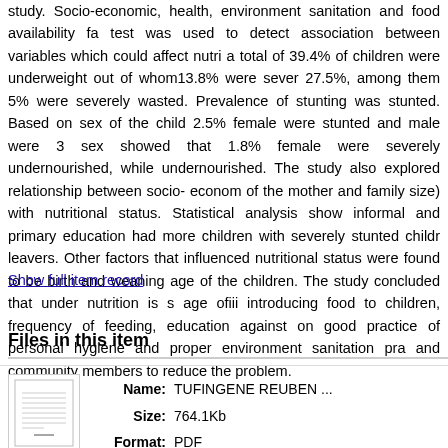study. Socio-economic, health, environment sanitation and food availability factors were collected in this study. The chi-square test was used to detect association between variables which could affect nutritional status of children. The results revealed that a total of 39.4% of children were underweight out of whom13.8% were severely underweight. Prevalence of wasting was 27.5%, among them 5% were severely wasted. Prevalence of stunting was 35%, and 2.5% of children were severely stunted. Based on sex of the child 2.5% female were stunted and male were 32.5%. Analysis of nutritional status based on sex showed that 1.8% female were severely undernourished, while male accounted for 3.8% severely undernourished. The study also explored relationship between socio- economic factors (education level of the mother and family size) with nutritional status. Statistical analysis showed that mothers with no formal education, informal and primary education had more children with severely stunted children compared to secondary school leavers. Other factors that influenced nutritional status were found to be birth order, age of starting complementary food and weaning age of the children. The study concluded that under nutrition is still a big challenge and recommended age ofiii introducing food to children, frequency of feeding, education against early pregnancies, creating awareness on good practice of personal hygiene and proper environment sanitation practices. This should be spearheaded by health workers and community members to reduce the problem.
Show full item record
Files in this item
[Figure (other): Thumbnail image of a PDF document]
Name: TUFINGENE REUBEN ...
Size: 764.1Kb
Format: PDF
View/O